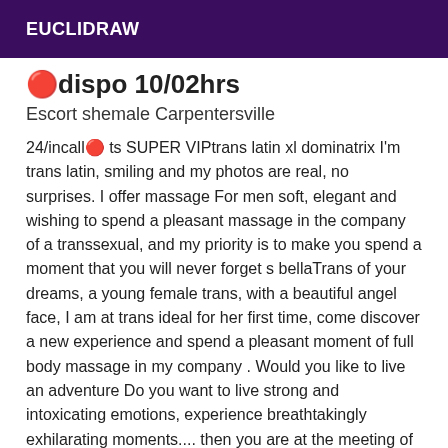EUCLIDRAW
🔴dispo 10/02hrs
Escort shemale Carpentersville
24/incall🔴 ts SUPER VIPtrans latin xl dominatrix I'm trans latin, smiling and my photos are real, no surprises. I offer massage For men soft, elegant and wishing to spend a pleasant massage in the company of a transsexual, and my priority is to make you spend a moment that you will never forget s bellaTrans of your dreams, a young female trans, with a beautiful angel face, I am at trans ideal for her first time, come discover a new experience and spend a pleasant moment of full body massage in my company . Would you like to live an adventure Do you want to live strong and intoxicating emotions, experience breathtakingly exhilarating moments.... then you are at the meeting of an adorable companion a beautiful independent trans..... Sublime beauty, delicious, beautiful, charming, attractive, caring and very